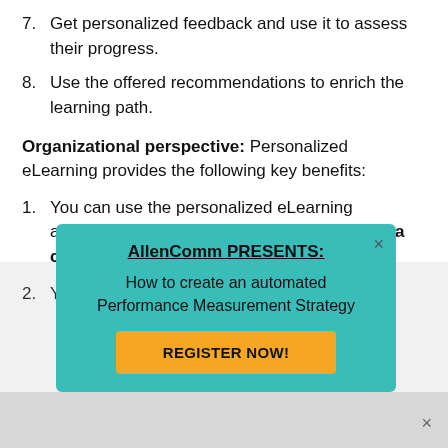7. Get personalized feedback and use it to assess their progress.
8. Use the offered recommendations to enrich the learning path.
Organizational perspective: Personalized eLearning provides the following key benefits:
1. You can use the personalized eLearning approach to promote a culture of learning as a continuum.
2. You will see better learner commitment and
[Figure (screenshot): Popup overlay from AllenComm reading: AllenComm PRESENTS: How to create an automated Performance Measurement Strategy, with a REGISTER NOW! button in orange.]
Su Le el